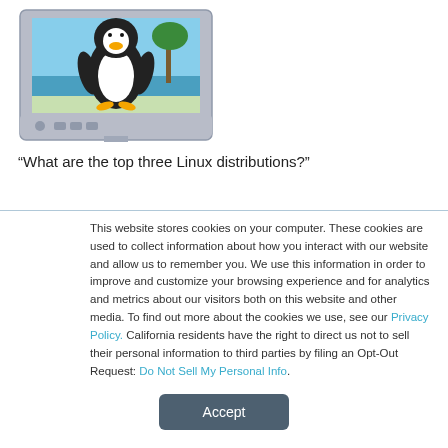[Figure (illustration): Illustration of a computer monitor displaying the Tux Linux penguin mascot, with a beach/ocean scene in the background. The monitor is silver/grey colored.]
“What are the top three Linux distributions?”
This website stores cookies on your computer. These cookies are used to collect information about how you interact with our website and allow us to remember you. We use this information in order to improve and customize your browsing experience and for analytics and metrics about our visitors both on this website and other media. To find out more about the cookies we use, see our Privacy Policy. California residents have the right to direct us not to sell their personal information to third parties by filing an Opt-Out Request: Do Not Sell My Personal Info.